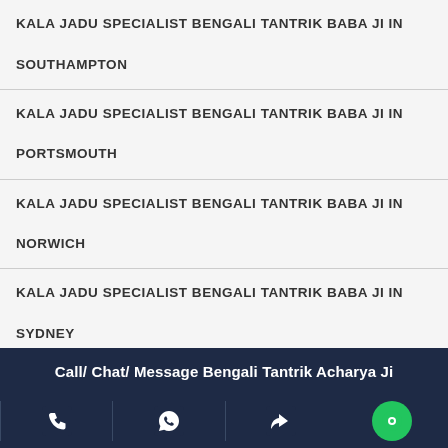KALA JADU SPECIALIST BENGALI TANTRIK BABA JI IN SOUTHAMPTON
KALA JADU SPECIALIST BENGALI TANTRIK BABA JI IN PORTSMOUTH
KALA JADU SPECIALIST BENGALI TANTRIK BABA JI IN NORWICH
KALA JADU SPECIALIST BENGALI TANTRIK BABA JI IN SYDNEY
KALA JADU SPECIALIST BENGALI TANTRIK BABA JI IN MELBOURNE
Call/ Chat/ Message Bengali Tantrik Acharya Ji